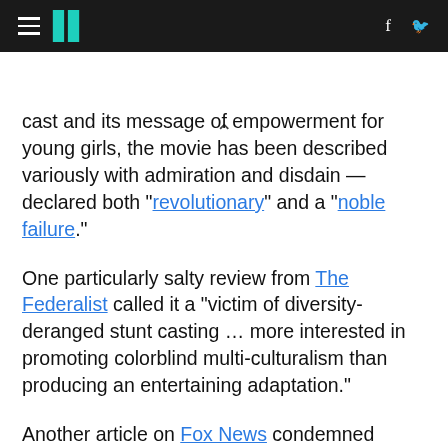HuffPost navigation header with hamburger menu, logo, Facebook and Twitter icons
cast and its message of empowerment for young girls, the movie has been described variously with admiration and disdain — declared both “revolutionary” and a “noble failure.”
One particularly salty review from The Federalist called it a “victim of diversity-deranged stunt casting … more interested in promoting colorblind multi-culturalism than producing an entertaining adaptation.”
Another article on Fox News condemned some cultural critics for “trying to look away from the